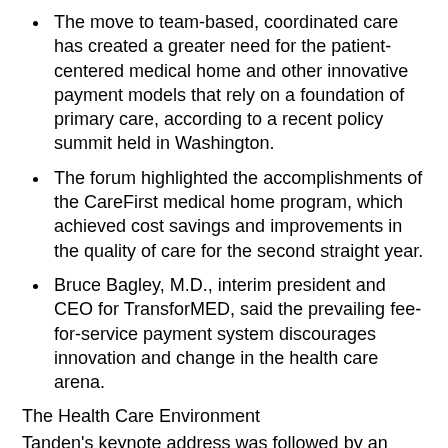The move to team-based, coordinated care has created a greater need for the patient-centered medical home and other innovative payment models that rely on a foundation of primary care, according to a recent policy summit held in Washington.
The forum highlighted the accomplishments of the CareFirst medical home program, which achieved cost savings and improvements in the quality of care for the second straight year.
Bruce Bagley, M.D., interim president and CEO for TransforMED, said the prevailing fee-for-service payment system discourages innovation and change in the health care arena.
The Health Care Environment
Tanden's keynote address was followed by an expert panel that included Bruce Bagley, M.D., TransforMED interim president and CEO; Chet Burrell, president and CEO of CareFirst; Marci Nielsen, M.P.H., Ph.D., CEO of the Patient-Centered Primary Care Collaborative; and Kavita Patel, M.D., fellow and managing director of delivery system reform